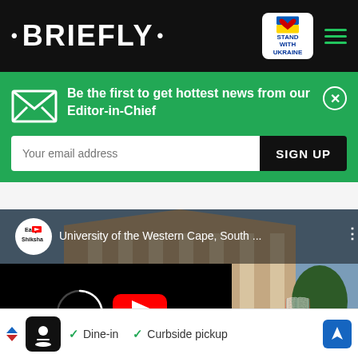• BRIEFLY •
Be the first to get hottest news from our Editor-in-Chief
Your email address
SIGN UP
[Figure (screenshot): YouTube video embed showing University of the Western Cape, South Africa. Channel: Easy Shiksha. Video thumbnail shows a university building with columns. A YouTube play button is visible. A loading spinner appears on the left side of the black video area.]
Dine-in  Curbside pickup